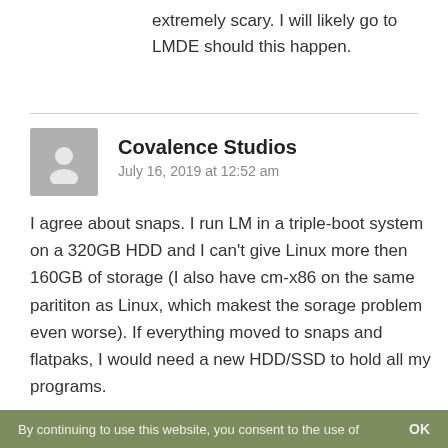extremely scary. I will likely go to LMDE should this happen.
Covalence Studios
July 16, 2019 at 12:52 am
I agree about snaps. I run LM in a triple-boot system on a 320GB HDD and I can't give Linux more then 160GB of storage (I also have cm-x86 on the same parititon as Linux, which makest the sorage problem even worse). If everything moved to snaps and flatpaks, I would need a new HDD/SSD to hold all my programs.
By continuing to use this website, you consent to the use of   OK